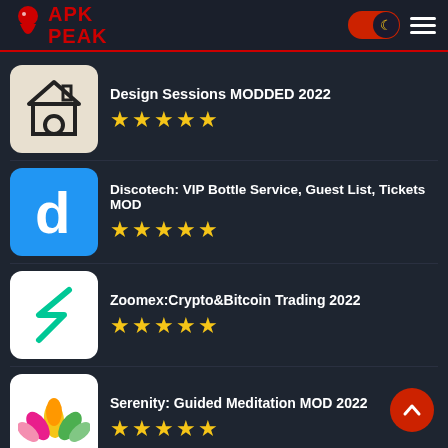APK PEAK
Design Sessions MODDED 2022 ★★★★★
Discotech: VIP Bottle Service, Guest List, Tickets MOD ★★★★★
Zoomex:Crypto&Bitcoin Trading 2022 ★★★★★
Serenity: Guided Meditation MOD 2022 ★★★★★